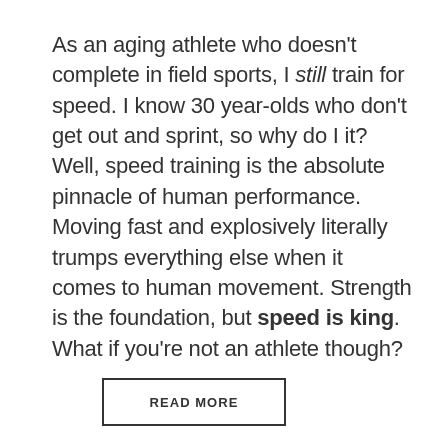As an aging athlete who doesn't complete in field sports, I still train for speed. I know 30 year-olds who don't get out and sprint, so why do I it? Well, speed training is the absolute pinnacle of human performance. Moving fast and explosively literally trumps everything else when it comes to human movement. Strength is the foundation, but speed is king. What if you're not an athlete though?
READ MORE